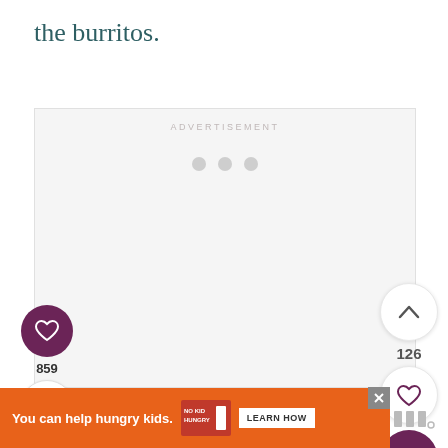the burritos.
[Figure (screenshot): Advertisement placeholder box with 'ADVERTISEMENT' label at top and three loading dots in center]
[Figure (infographic): Left sidebar with purple heart button, count 859, and share button with plus icon]
[Figure (infographic): Right sidebar with up chevron button, count 126, white heart button, and purple search button]
[Figure (screenshot): Bottom orange banner ad reading 'You can help hungry kids.' with No Kid Hungry logo and 'LEARN HOW' button, plus close X button]